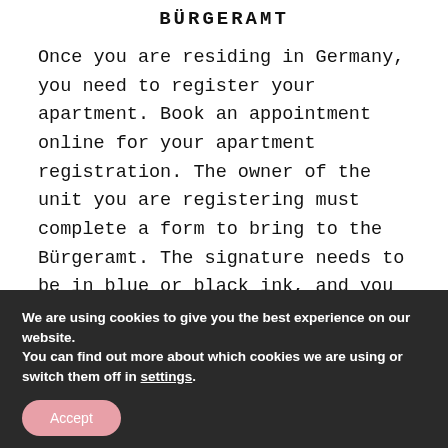BÜRGERAMT
Once you are residing in Germany, you need to register your apartment. Book an appointment online for your apartment registration. The owner of the unit you are registering must complete a form to bring to the Bürgeramt. The signature needs to be in blue or black ink, and you need your passport with you.
We are using cookies to give you the best experience on our website.
You can find out more about which cookies we are using or switch them off in settings.
Accept